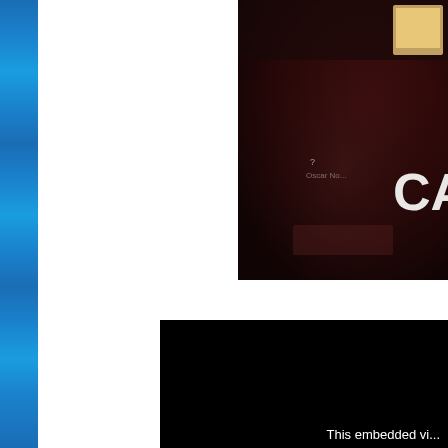[Figure (photo): Blue tiled gradient strip along the left edge of the page]
[Figure (photo): Dark reddish-brown blurry photo showing a dimly lit interior space with partial text 'CA' visible in white on the right side, and a small bright display in the upper right corner]
[Figure (photo): Black rectangle representing an embedded video player with partial text 'This embedded vi...' in white at the bottom right]
This embedded vi...